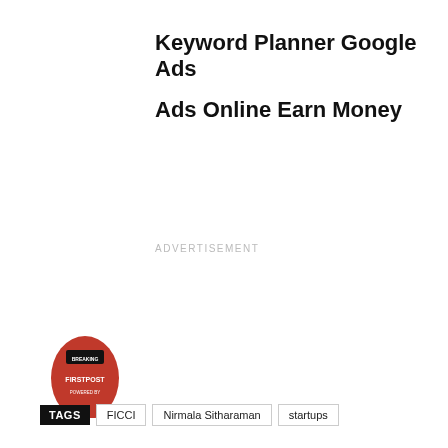Keyword Planner Google Ads
Ads Online Earn Money
ADVERTISEMENT
[Figure (logo): Red oval logo with text inside, appears to be a news or media brand logo]
TAGS  FICCI  Nirmala Sitharaman  startups